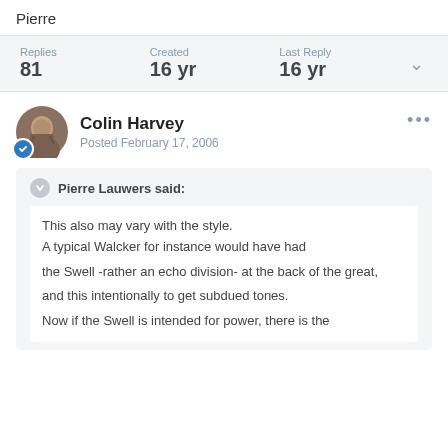Pierre
Replies 81 | Created 16 yr | Last Reply 16 yr
Colin Harvey
Posted February 17, 2006
Pierre Lauwers said:
This also may vary with the style.
A typical Walcker for instance would have had
the Swell -rather an echo division- at the back of the great,
and this intentionally to get subdued tones.
Now if the Swell is intended for power, there is the